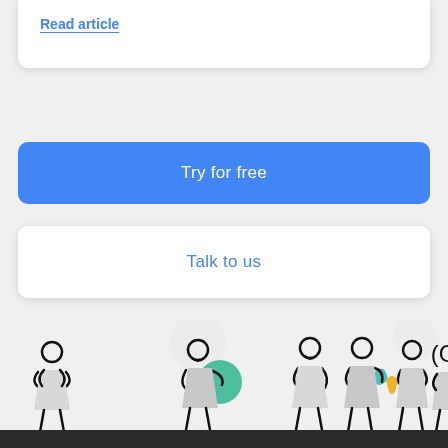Read article
Try for free
Talk to us
[Figure (illustration): Row of six cartoon stick-figure people illustrations with simple geometric shapes and minimal detail; some figures have colorful accessories including a green circle, teal leaf, and yellow shield shape.]